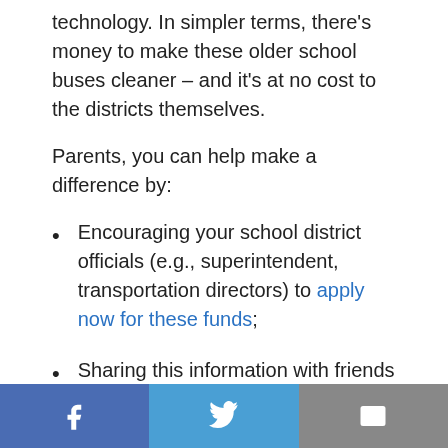technology. In simpler terms, there's money to make these older school buses cleaner – and it's at no cost to the districts themselves.
Parents, you can help make a difference by:
Encouraging your school district officials (e.g., superintendent, transportation directors) to apply now for these funds;
Sharing this information with friends and family to help spread the word;
Urging your Texas state legislators to
Facebook | Twitter | Email